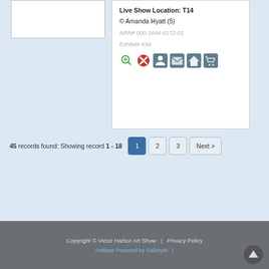Live Show Location: T14
© Amanda Hyatt (5)
NRN# 000-1644-0172-01
Exhibit# 634
45 records found: Showing record 1 - 18
Copyright © Victor Harbor Art Show | Privacy Policy
ArtBase Powered by GalleryM |